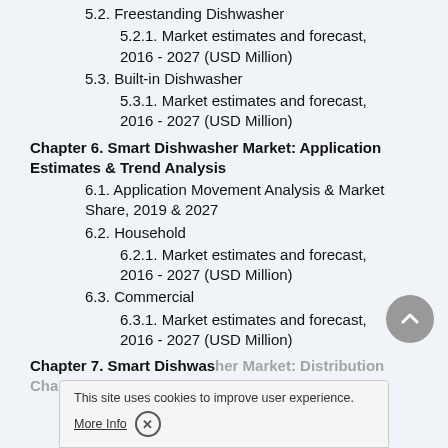5.2. Freestanding Dishwasher
5.2.1. Market estimates and forecast, 2016 - 2027 (USD Million)
5.3. Built-in Dishwasher
5.3.1. Market estimates and forecast, 2016 - 2027 (USD Million)
Chapter 6. Smart Dishwasher Market: Application Estimates & Trend Analysis
6.1. Application Movement Analysis & Market Share, 2019 & 2027
6.2. Household
6.2.1. Market estimates and forecast, 2016 - 2027 (USD Million)
6.3. Commercial
6.3.1. Market estimates and forecast, 2016 - 2027 (USD Million)
Chapter 7. Smart Dishwasher Market: Distribution Channel Estimates & Trend Analysis
7.1. Distribution